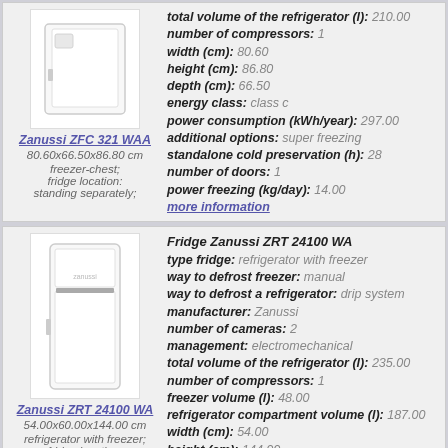[Figure (photo): Photo of Zanussi ZFC 321 WAA freezer-chest refrigerator, white, front view]
Zanussi ZFC 321 WAA
80.60x66.50x86.80 cm
freezer-chest; fridge location: standing separately;
management: electromechanical
total volume of the refrigerator (l): 210.00
number of compressors: 1
width (cm): 80.60
height (cm): 86.80
depth (cm): 66.50
energy class: class c
power consumption (kWh/year): 297.00
additional options: super freezing
standalone cold preservation (h): 28
number of doors: 1
power freezing (kg/day): 14.00
more information
[Figure (photo): Photo of Zanussi ZRT 24100 WA refrigerator with freezer, white, front view]
Zanussi ZRT 24100 WA
54.00x60.00x144.00 cm
refrigerator with freezer; fridge location: ...
Fridge Zanussi ZRT 24100 WA
type fridge: refrigerator with freezer
way to defrost freezer: manual
way to defrost a refrigerator: drip system
manufacturer: Zanussi
number of cameras: 2
management: electromechanical
total volume of the refrigerator (l): 235.00
number of compressors: 1
freezer volume (l): 48.00
refrigerator compartment volume (l): 187.00
width (cm): 54.00
height (cm): 144.00
depth (cm): 60.00
noise level (dB): 42
weight (kg): 45.00
ability to change the position of the door
energy class: class a